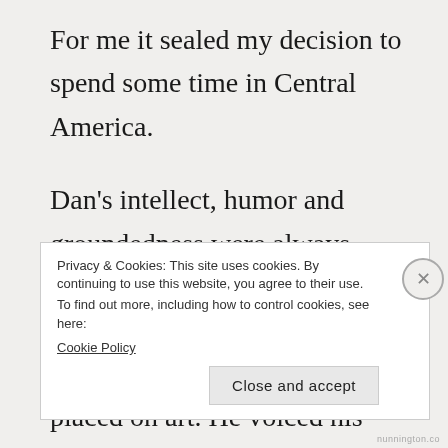For me it sealed my decision to spend some time in Central America.
Dan's intellect, humor and groundedness were always inspirations for me. But where our spiritual paths had a special affinity was in the value he placed on art. He voiced his concerns movingly in poetry; I was more interested in the formal issues of order and
Privacy & Cookies: This site uses cookies. By continuing to use this website, you agree to their use.
To find out more, including how to control cookies, see here:
Cookie Policy
Close and accept